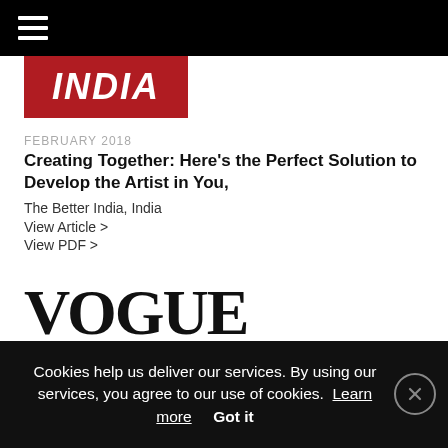Navigation bar with hamburger menu
[Figure (logo): The Better India logo — red rectangle with white bold italic text 'INDIA']
FEBRUARY 2018
Creating Together: Here's the Perfect Solution to Develop the Artist in You,
The Better India, India
View Article >
View PDF >
[Figure (logo): Vogue logo in large serif bold font, partially visible, reading 'VOGUE']
Cookies help us deliver our services. By using our services, you agree to our use of cookies.  Learn more     Got it